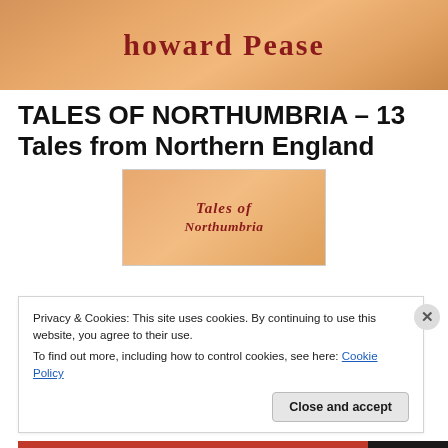[Figure (illustration): Orange/tan gradient banner with stylized text 'howard Pease' in dark red serif font]
TALES OF NORTHUMBRIA – 13 Tales from Northern England
[Figure (illustration): Book cover with orange/tan gradient background showing 'Tales of Northumbria' in stylized dark red text]
Privacy & Cookies: This site uses cookies. By continuing to use this website, you agree to their use.
To find out more, including how to control cookies, see here: Cookie Policy
Close and accept